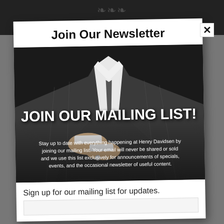HENRY A. DA[VIDSEN]
Join Our Newsletter
[Figure (photo): Man in grey pinstripe suit adjusting cufflinks, with text overlay 'JOIN OUR MAILING LIST!' and description text below]
Stay up to date with everything happening at Henry Davidsen by joining our mailing list.  Your email will never be shared or sold and we use this list exclusively for announcements of specials, events, and the occasional newsletter of useful content.
Sign up for our mailing list for updates.